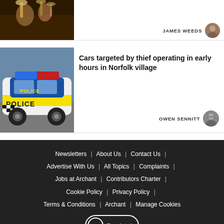[Figure (photo): Hands holding drinks/glasses at a social gathering, partial view]
JAMES WEEDS
[Figure (photo): Police car with blue and yellow checkered livery, marked POLICE]
Cars targeted by thief operating in early hours in Norfolk village
OWEN SENNITT
Newsletters | About Us | Contact Us | Advertise With Us | All Topics | Complaints | Jobs at Archant | Contributors Charter | Cookie Policy | Privacy Policy | Terms & Conditions | Archant | Manage Cookies